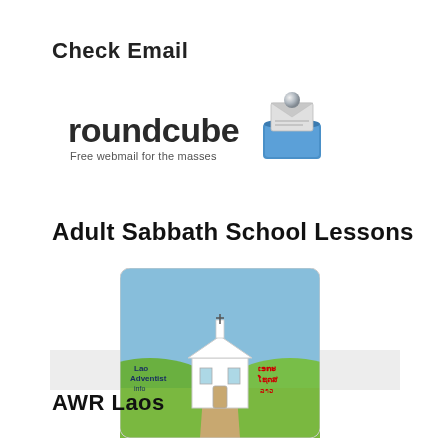Check Email
[Figure (logo): Roundcube webmail logo — text 'roundcube' in dark rounded letters with tagline 'Free webmail for the masses' and a 3D envelope/tray icon in blue and silver on the right]
Adult Sabbath School Lessons
[Figure (illustration): Illustration of a church building with a green landscape, blue sky, a path leading to the church. Text overlay: 'Lao Adventist' on the left and Lao script text on the right. Highlighted bar behind the text area.]
AWR Laos